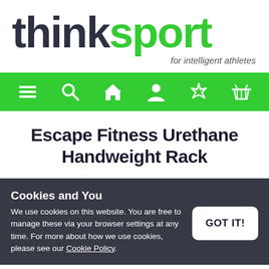[Figure (logo): Thinksport logo: 'think' in dark gray bold, 'sport' in green bold, with green triangle accent on the letter i, tagline 'for intelligent athletes' in italic gray below]
[Figure (other): Navigation bar with green background containing 6 white icons: hamburger menu, search, home, user, magic wand/star, shopping basket]
Escape Fitness Urethane Handweight Rack
Cookies and You
We use cookies on this website. You are free to manage these via your browser settings at any time. For more about how we use cookies, please see our Cookie Policy.